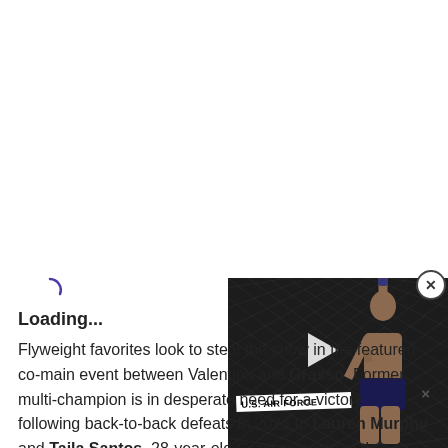[Figure (photo): Video player overlay showing a UFC fighter with arm raised in a dark octagon arena, with a play button icon in the center. A U.S. Air Force banner is visible. A close button (X in circle) appears in the top-right corner. An × dismiss button appears at lower right of overlay.]
Loading...
Flyweight favorites look to steal the show in the featured co-main event between Valentina and Grasso. Former multi-champion is in desperate need for a victory following back-to-back defeats in 2021 to Lauren Murphy and Taila Santos. 28-year-old Grasso comes in the opposite with two straight